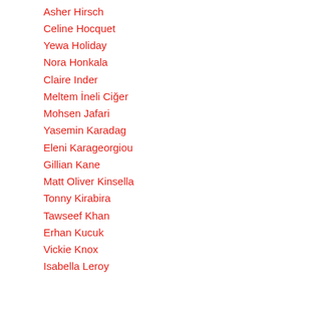Asher Hirsch
Celine Hocquet
Yewa Holiday
Nora Honkala
Claire Inder
Meltem İneli Ciğer
Mohsen Jafari
Yasemin Karadag
Eleni Karageorgiou
Gillian Kane
Matt Oliver Kinsella
Tonny Kirabira
Tawseef Khan
Erhan Kucuk
Vickie Knox
Isabella Leroy